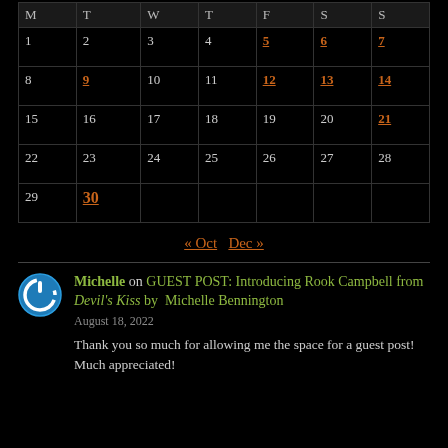| M | T | W | T | F | S | S |
| --- | --- | --- | --- | --- | --- | --- |
| 1 | 2 | 3 | 4 | 5 | 6 | 7 |
| 8 | 9 | 10 | 11 | 12 | 13 | 14 |
| 15 | 16 | 17 | 18 | 19 | 20 | 21 |
| 22 | 23 | 24 | 25 | 26 | 27 | 28 |
| 29 | 30 |  |  |  |  |  |
« Oct   Dec »
[Figure (logo): Blue circular power button icon]
Michelle on GUEST POST: Introducing Rook Campbell from Devil's Kiss by Michelle Bennington
August 18, 2022
Thank you so much for allowing me the space for a guest post! Much appreciated!